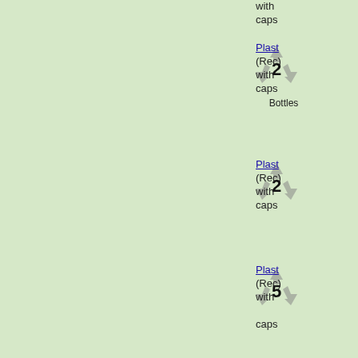with caps
[Figure (illustration): Recycling symbol with number 2 and label Bottles]
Plast (Recyc with caps
[Figure (illustration): Recycling symbol with number 2]
Plast (Recyc with caps
[Figure (illustration): Recycling symbol with number 5]
Plast (Recyc with caps
[Figure (illustration): Polyb icon - industrial container]
Polyb (Recyc recyc
[Figure (illustration): Steel cans icon]
Steel (Recyc with and n
[Figure (illustration): Telephone directory / book icon]
Telep (Recyc softc